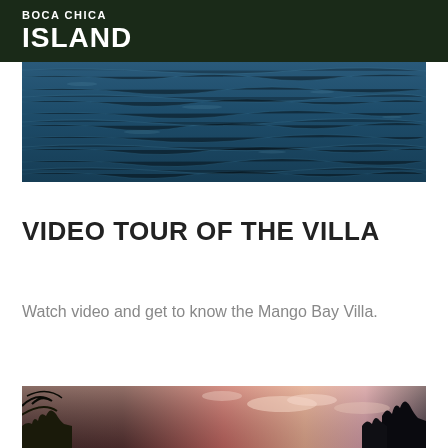BOCA CHICA ISLAND
[Figure (photo): Aerial or close-up view of blue ocean/bay water with rippling surface]
VIDEO TOUR OF THE VILLA
Watch video and get to know the Mango Bay Villa.
[Figure (photo): Tropical sunset scene with palm tree silhouettes and colorful pink and orange sky]